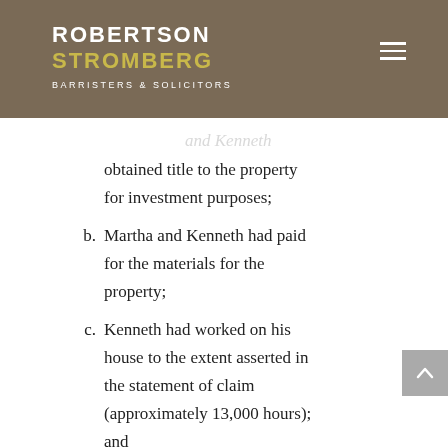ROBERTSON STROMBERG BARRISTERS & SOLICITORS
obtained title to the property for investment purposes;
b. Martha and Kenneth had paid for the materials for the property;
c. Kenneth had worked on his house to the extent asserted in the statement of claim (approximately 13,000 hours); and
d. His parents had made payments towards the mortgage, utilities or taxes. According to Richard, all of